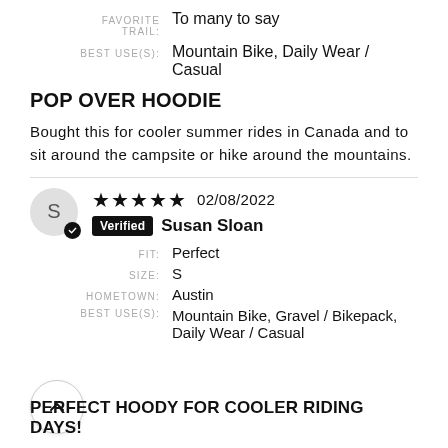FAVORITE TRAIL: To many to say
BEST USE(S): Mountain Bike, Daily Wear / Casual
POP OVER HOODIE
Bought this for cooler summer rides in Canada and to sit around the campsite or hike around the mountains.
★★★★★ 02/08/2022 Verified Susan Sloan
FIT: Perfect
SIZE: S
HOMETOWN: Austin
BEST USE(S): Mountain Bike, Gravel / Bikepack, Daily Wear / Casual
PERFECT HOODY FOR COOLER RIDING DAYS!